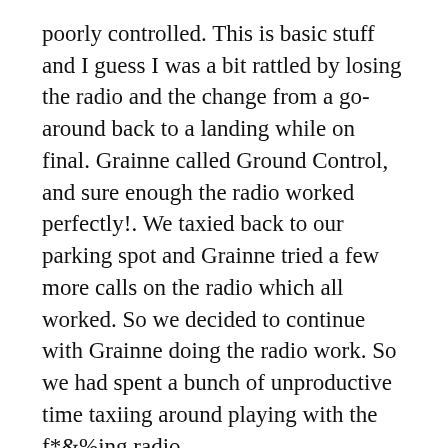poorly controlled. This is basic stuff and I guess I was a bit rattled by losing the radio and the change from a go-around back to a landing while on final. Grainne called Ground Control, and sure enough the radio worked perfectly!. We taxied back to our parking spot and Grainne tried a few more calls on the radio which all worked. So we decided to continue with Grainne doing the radio work. So we had spent a bunch of unproductive time taxiing around playing with the f*&%ing radio.
I took-off on 31R and entered right traffic, by this time the pattern was less busy. We did three touch and go's and one full stop landing. Of the four I messed up the approach on at